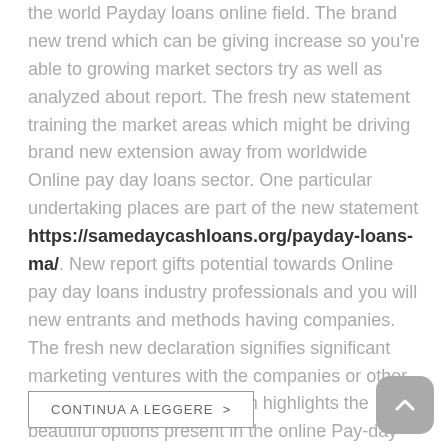the world Payday loans online field. The brand new trend which can be giving increase so you're able to growing market sectors try as well as analyzed about report. The fresh new statement training the market areas which might be driving brand new extension away from worldwide Online pay day loans sector. One particular undertaking places are part of the new statement https://samedaycashloans.org/payday-loans-ma/. New report gifts potential towards Online pay day loans industry professionals and you will new entrants and methods having companies. The fresh new declaration signifies significant marketing ventures with the companies or other ents. The newest declaration highlights the beautiful options present in the online Payday Money business that have getting a detailed markets assessment and you may styles. (altro…)
CONTINUA A LEGGERE >